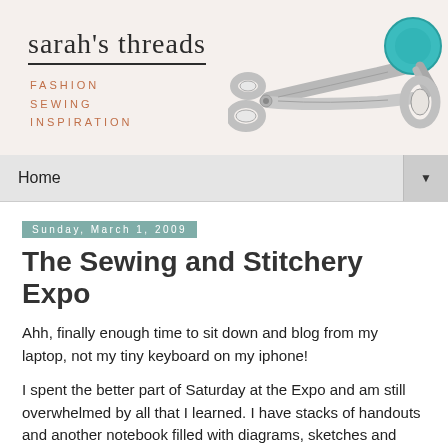sarah's threads
FASHION
SEWING
INSPIRATION
[Figure (illustration): Illustration of a large pair of scissors with teal/turquoise handles on a light background]
Home
Sunday, March 1, 2009
The Sewing and Stitchery Expo
Ahh, finally enough time to sit down and blog from my laptop, not my tiny keyboard on my iphone!
I spent the better part of Saturday at the Expo and am still overwhelmed by all that I learned. I have stacks of handouts and another notebook filled with diagrams, sketches and notes. While many of the techniques I learned are too complicated to describe via blog post, here are some of the